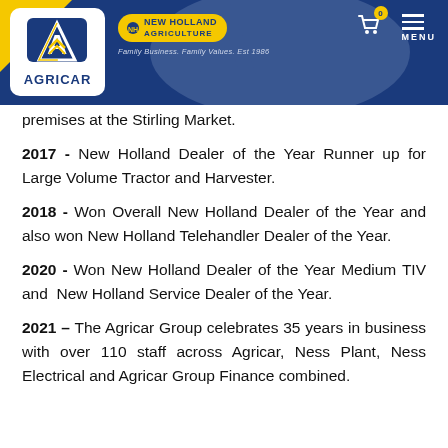Agricar / New Holland Agriculture — Family Business. Family Values. Est 1986.
premises at the Stirling Market.
2017 - New Holland Dealer of the Year Runner up for Large Volume Tractor and Harvester.
2018 - Won Overall New Holland Dealer of the Year and also won New Holland Telehandler Dealer of the Year.
2020 - Won New Holland Dealer of the Year Medium TIV and New Holland Service Dealer of the Year.
2021 – The Agricar Group celebrates 35 years in business with over 110 staff across Agricar, Ness Plant, Ness Electrical and Agricar Group Finance combined.